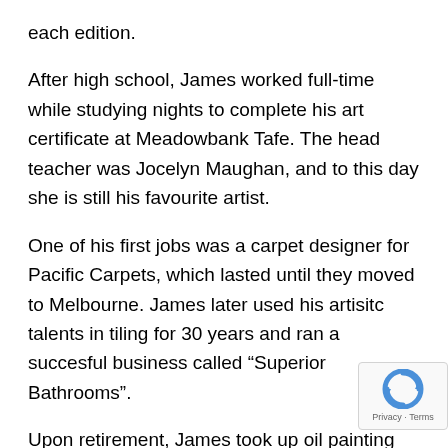each edition.
After high school, James worked full-time while studying nights to complete his art certificate at Meadowbank Tafe. The head teacher was Jocelyn Maughan, and to this day she is still his favourite artist.
One of his first jobs was a carpet designer for Pacific Carpets, which lasted until they moved to Melbourne. James later used his artisitc talents in tiling for 30 years and ran a succesful business called “Superior Bathrooms”.
Upon retirement, James took up oil painting full-time. He has diverse interests and paints a wide variety of subjects. James is continually deepening his expertise and is k to produce more artworks.